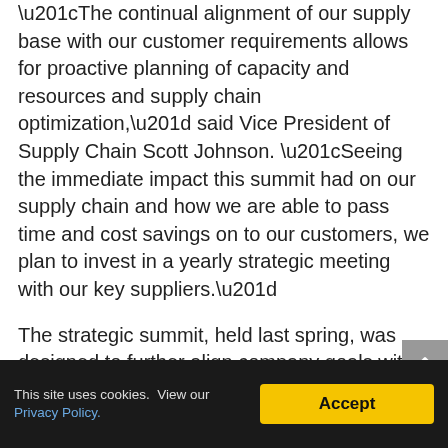“The continual alignment of our supply base with our customer requirements allows for proactive planning of capacity and resources and supply chain optimization,” said Vice President of Supply Chain Scott Johnson. “Seeing the immediate impact this summit had on our supply chain and how we are able to pass time and cost savings on to our customers, we plan to invest in a yearly strategic meeting with our key suppliers.”
The strategic summit, held last spring, was designed to further align company goals with supply chain objectives. The Coghlin Companies Tier 1 Supplier program establishes metrics and outlines incentives for top suppliers. In return
This site uses cookies.  View our Privacy Policy.   Accept